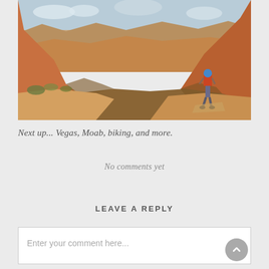[Figure (photo): Panoramic photo of a red rock canyon landscape (likely Canyonlands/Moab area) with a person in a blue helmet and red backpack standing on the rocky rim overlooking the canyon.]
Next up... Vegas, Moab, biking, and more.
No comments yet
LEAVE A REPLY
Enter your comment here...